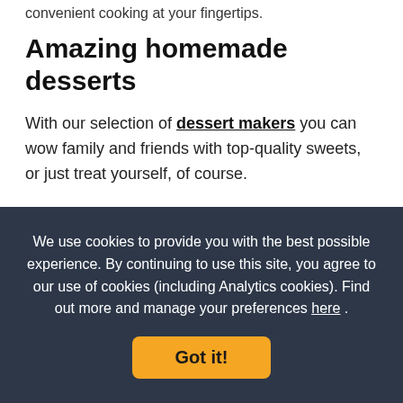convenient cooking at your fingertips.
Amazing homemade desserts
With our selection of dessert makers you can wow family and friends with top-quality sweets, or just treat yourself, of course.
Our range of ice cream machines can churn out delicious homemade ice creams, fruity sorbets, even healthy frozen yoghurts. If you're in the mood for something warmer, take a look at our waffle machines, pancake makers and doughnut makers. And every home needs a chocolate
We use cookies to provide you with the best possible experience. By continuing to use this site, you agree to our use of cookies (including Analytics cookies). Find out more and manage your preferences here .
Got it!